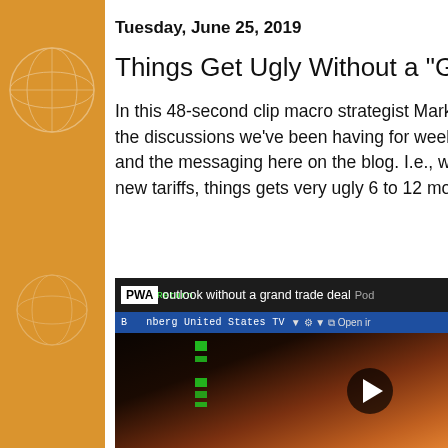Tuesday, June 25, 2019
Things Get Ugly Without a "Grand Deal"
In this 48-second clip macro strategist Mark Cr... the discussions we've been having for weeks i... and the messaging here on the blog. I.e., witho... new tariffs, things gets very ugly 6 to 12 month...
[Figure (screenshot): Bloomberg TV video screenshot showing PWA logo and 'outlook without a grand trade deal' ticker text, with a man in a suit appearing on Bloomberg United States TV. A play button is visible in the center-right of the video frame.]